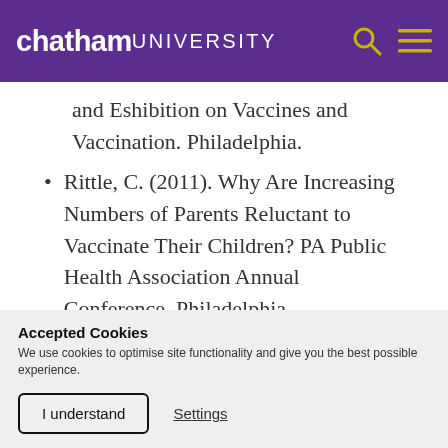chatham UNIVERSITY
and Eshibition on Vaccines and Vaccination. Philadelphia.
Rittle, C. (2011). Why Are Increasing Numbers of Parents Reluctant to Vaccinate Their Children? PA Public Health Association Annual Conference. Philadelphia
Accepted Cookies
We use cookies to optimise site functionality and give you the best possible experience.
I understand   Settings